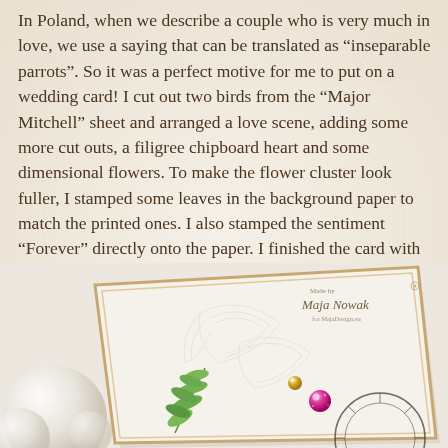In Poland, when we describe a couple who is very much in love, we use a saying that can be translated as "inseparable parrots". So it was a perfect motive for me to put on a wedding card! I cut out two birds from the "Major Mitchell" sheet and arranged a love scene, adding some more cut outs, a filigree chipboard heart and some dimensional flowers. To make the flower cluster look fuller, I stamped some leaves in the background paper to match the printed ones. I also stamped the sentiment "Forever" directly onto the paper. I finished the card with some vintage ribbon, string and acrylic gems.
[Figure (photo): A handmade wedding card photographed at an angle, showing a cream/white card with embossed feather/wing patterns, green leaf sprigs, a gold gem, a pink glitter gem, and a cursive signature reading 'Made by Maja Nowak for MajaDesign.eu'. The card has torn/deckled edges with a warm golden border. Pearl/white decorative elements are visible in the lower left corner.]